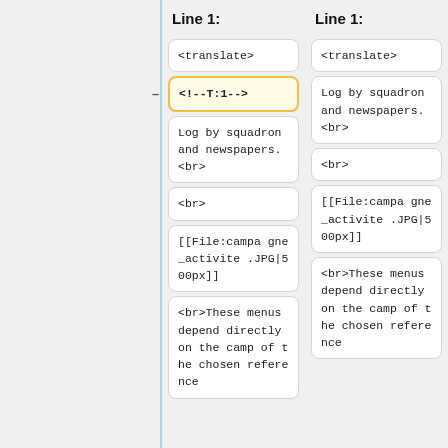Line 1:
Line 1:
<translate>
<translate>
<!--T:1-->
Log by squadron and newspapers.<br>
Log by squadron and newspapers.<br>
<br>
<br>
[[File:campagne_activite.JPG|500px]]
[[File:campagne_activite.JPG|500px]]
<br>These menus depend directly on the camp of the chosen reference
<br>These menus depend directly on the camp of the chosen reference